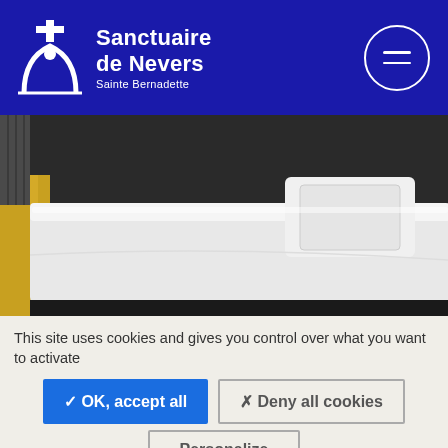[Figure (logo): Sanctuaire de Nevers - Sainte Bernadette logo with white arch icon and text on dark blue background, plus hamburger menu circle button]
[Figure (photo): Close-up photo of a white hospital/pilgrimage bed with white pillow and yellow chair visible in background]
This site uses cookies and gives you control over what you want to activate
✓ OK, accept all
✗ Deny all cookies
Personalize